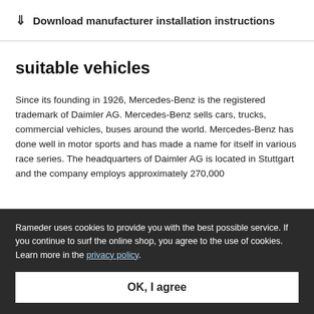↓  Download manufacturer installation instructions
suitable vehicles
Since its founding in 1926, Mercedes-Benz is the registered trademark of Daimler AG. Mercedes-Benz sells cars, trucks, commercial vehicles, buses around the world. Mercedes-Benz has done well in motor sports and has made a name for itself in various race series. The headquarters of Daimler AG is located in Stuttgart and the company employs approximately 270,000
Rameder uses cookies to provide you with the best possible service. If you continue to surf the online shop, you agree to the use of cookies. Learn more in the privacy policy.
OK, I agree